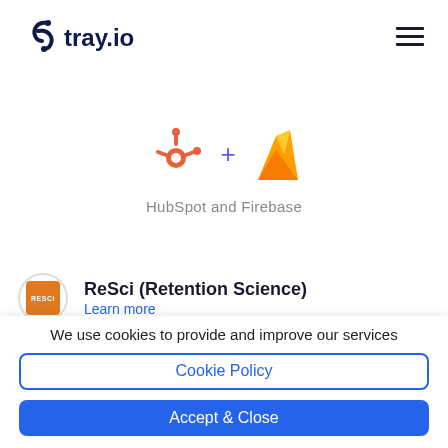[Figure (logo): tray.io logo — stylized chain-link icon followed by 'tray.io' in dark navy text]
[Figure (infographic): HubSpot orange sprocket icon + blue plus sign + Firebase yellow flame icon, with caption 'HubSpot and Firebase']
HubSpot and Firebase
[Figure (logo): ReSci (Retention Science) orange square logo with 'RESCI' text, circular border]
ReSci (Retention Science)
Learn more
We use cookies to provide and improve our services
Cookie Policy
Accept & Close